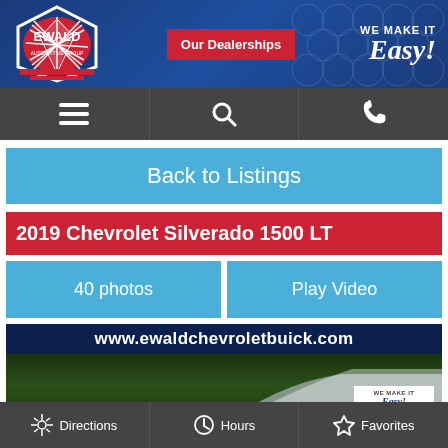[Figure (logo): Ewald Automotive Group logo with red/white star burst design and navigation bar with hamburger menu, search, and phone icons]
Our Dealerships
WE MAKE IT Easy!
Back to Listings
2019 Chevrolet Silverado 1500 LT
40 photos
Play Video
[Figure (screenshot): Ewald Chevrolet Buick dealer banner showing www.ewaldchevroletbuick.com with dark forest background and Ewald logo]
Directions
Hours
Favorites